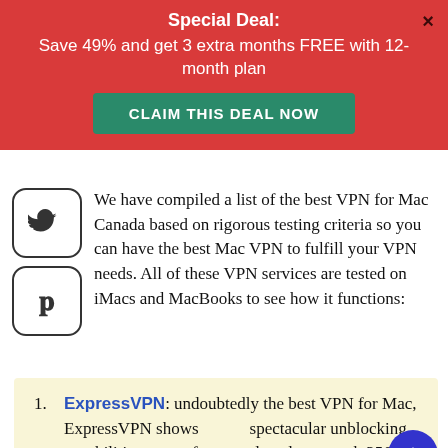Special Deal:
Save 49% and get 3 extra months FREE with 12-month plan
CLAIM THIS DEAL NOW
[Figure (logo): Twitter bird icon in rounded square]
[Figure (logo): Pinterest P icon in rounded square]
We have compiled a list of the best VPN for Mac Canada based on rigorous testing criteria so you can have the best Mac VPN to fulfill your VPN needs. All of these VPN services are tested on iMacs and MacBooks to see how it functions:
ExpressVPN: undoubtedly the best VPN for Mac, ExpressVPN shows spectacular unblocking capabilities, super-fast speed, and top-notch 256-bit encryption. It has